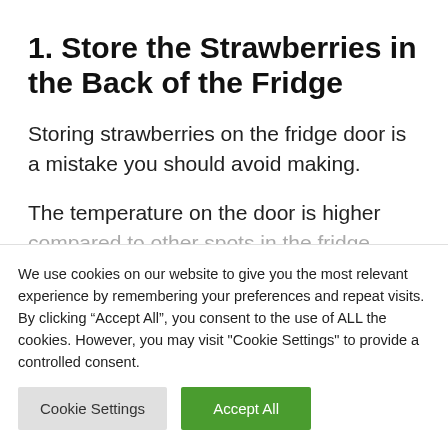1. Store the Strawberries in the Back of the Fridge
Storing strawberries on the fridge door is a mistake you should avoid making.
The temperature on the door is higher compared to other spots in the fridge
We use cookies on our website to give you the most relevant experience by remembering your preferences and repeat visits. By clicking “Accept All”, you consent to the use of ALL the cookies. However, you may visit "Cookie Settings" to provide a controlled consent.